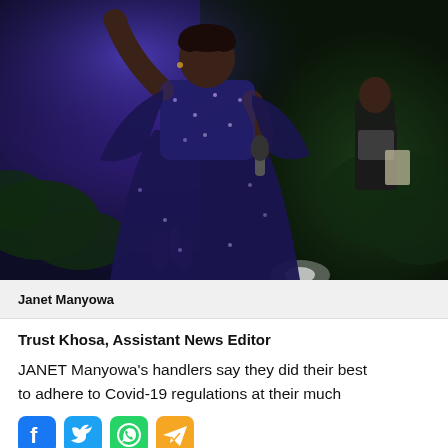[Figure (photo): A woman in a sparkling dark sequined gown singing into a microphone on stage, one arm raised, with blue/purple stage lighting and greenery in background. Another person visible on right side.]
Janet Manyowa
Trust Khosa, Assistant News Editor
JANET Manyowa's handlers say they did their best to adhere to Covid-19 regulations at their much
[Figure (infographic): Social media share icons: Facebook (blue), Twitter (blue bird), WhatsApp (green), Telegram (orange)]